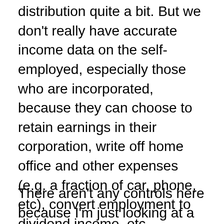distribution quite a bit. But we don't really have accurate income data on the self-employed, especially those who are incorporated, because they can choose to retain earnings in their corporation, write off home office and other expenses (e.g. a fraction of car, phone, etc), convert employment to dividend income, etc.
There aren't any controls here because I'm just looking at a distribution of hourly wages - no regressions - not worth it given how skewed the income distribution is and lack of info on the self-employed.